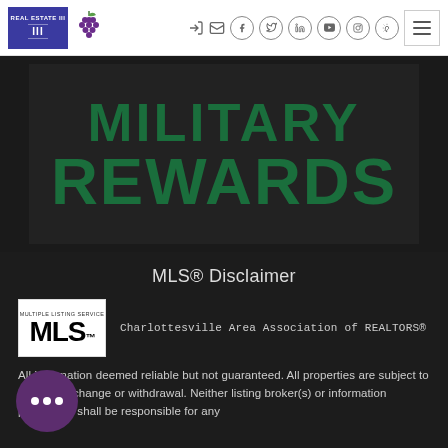[Figure (logo): Real Estate III logo in purple box with roman numerals, and grape cluster icon]
[Figure (screenshot): Navigation icons: sign-in, email, facebook, twitter, linkedin, youtube, instagram, pinterest, and hamburger menu]
[Figure (illustration): Military Rewards banner with large green bold text on dark background]
MLS® Disclaimer
[Figure (logo): Multiple Listing Service MLS logo in white box]
Charlottesville Area Association of REALTORS®
All information deemed reliable but not guaranteed. All properties are subject to prior sale, change or withdrawal. Neither listing broker(s) or information provider(s) shall be responsible for any